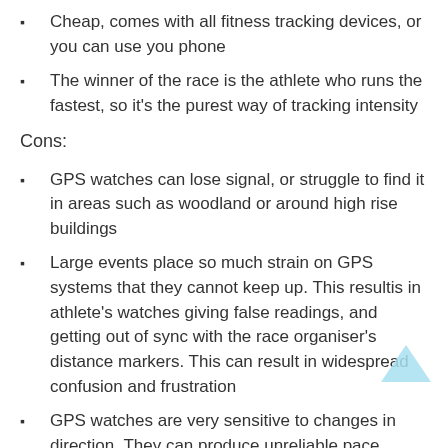Cheap, comes with all fitness tracking devices, or you can use you phone
The winner of the race is the athlete who runs the fastest, so it's the purest way of tracking intensity
Cons:
GPS watches can lose signal, or struggle to find it in areas such as woodland or around high rise buildings
Large events place so much strain on GPS systems that they cannot keep up. This resultis in athlete's watches giving false readings, and getting out of sync with the race organiser's distance markers. This can result in widespread confusion and frustration
GPS watches are very sensitive to changes in direction. They can produce unreliable pace...